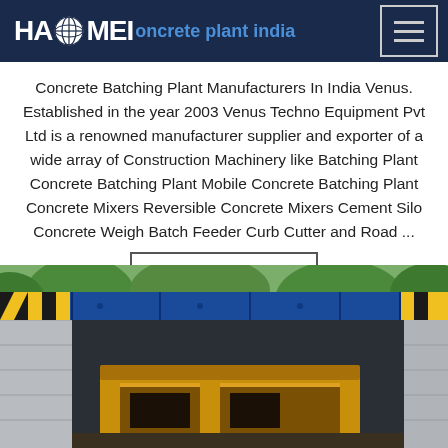HAOMEI concrete plant india
Concrete Batching Plant Manufacturers In India Venus. Established in the year 2003 Venus Techno Equipment Pvt Ltd is a renowned manufacturer supplier and exporter of a wide array of Construction Machinery like Batching Plant Concrete Batching Plant Mobile Concrete Batching Plant Concrete Mixers Reversible Concrete Mixers Cement Silo Concrete Weigh Batch Feeder Curb Cutter and Road ...
[Figure (other): Button: Get Price]
[Figure (photo): Photo of construction equipment (likely concrete batching plant components) loaded inside a blue shipping container, with trees visible in the background.]